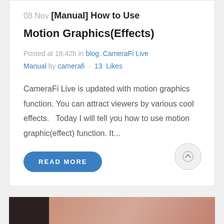08 Nov [Manual] How to Use
Motion Graphics(Effects)
Posted at 18:42h in blog, CameraFi Live Manual by camerafi · 13 Likes
CameraFi Live is updated with motion graphics function. You can attract viewers by various cool effects.   Today I will tell you how to use motion graphic(effect) function. It...
READ MORE
[Figure (photo): Partial photo visible at bottom of page, showing dark and skin-tone colors]